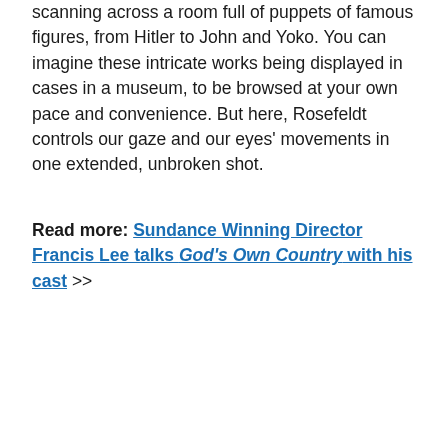scanning across a room full of puppets of famous figures, from Hitler to John and Yoko. You can imagine these intricate works being displayed in cases in a museum, to be browsed at your own pace and convenience. But here, Rosefeldt controls our gaze and our eyes' movements in one extended, unbroken shot.
Read more: Sundance Winning Director Francis Lee talks God's Own Country with his cast >>